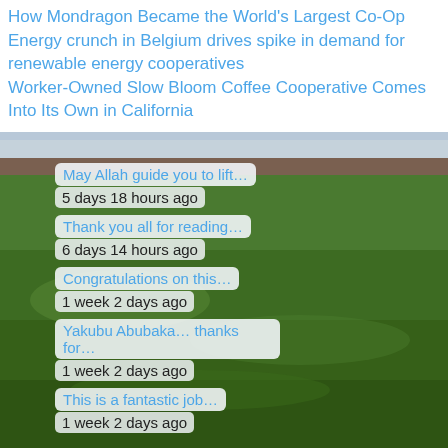How Mondragon Became the World's Largest Co-Op
Energy crunch in Belgium drives spike in demand for renewable energy cooperatives
Worker-Owned Slow Bloom Coffee Cooperative Comes Into Its Own in California
[Figure (photo): Landscape photo of green grassy moorland under an overcast sky with a low ridge in the background]
May Allah guide you to lift…
5 days 18 hours ago
Thank you all for reading…
6 days 14 hours ago
Congratulations on this…
1 week 2 days ago
Yakubu Abubaka… thanks for…
1 week 2 days ago
This is a fantastic job…
1 week 2 days ago